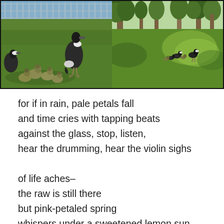[Figure (photo): Two side-by-side photos of Canada geese and goslings on green grass. Left photo shows geese near a metal fence by water. Right photo shows geese on a park lawn with trees in the background.]
for if in rain, pale petals fall
and time cries with tapping beats
against the glass, stop, listen,
hear the drumming, hear the violin sighs

of life aches–
the raw is still there
but pink-petaled spring
whispers under a sweetened lemon sun,

failure, collapse, frightening,